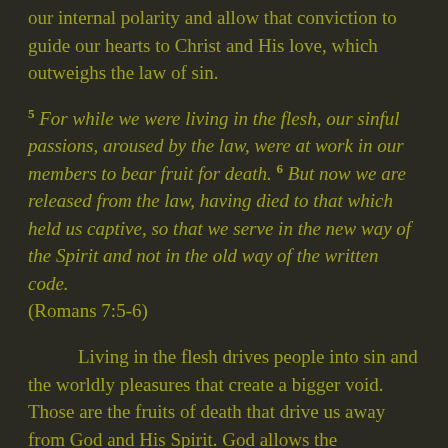our internal polarity and allow that conviction to guide our hearts to Christ and His love, which outweighs the law of sin.
5 For while we were living in the flesh, our sinful passions, aroused by the law, were at work in our members to bear fruit for death. 6 But now we are released from the law, having died to that which held us captive, so that we serve in the new way of the Spirit and not in the old way of the written code. (Romans 7:5-6)
Living in the flesh drives people into sin and the worldly pleasures that create a bigger void. Those are the fruits of death that drive us away from God and His Spirit. God allows the conviction that His love creates to draw us to Him and the eternal treasure we build for ourselves on earth...